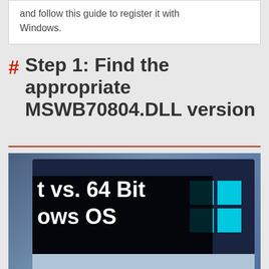and follow this guide to register it with Windows.
# Step 1: Find the appropriate MSWB70804.DLL version
[Figure (screenshot): Screenshot thumbnail showing text 't vs. 64 Bit' and 'ows OS' overlaid on a Windows 10 desktop with the Windows logo visible]